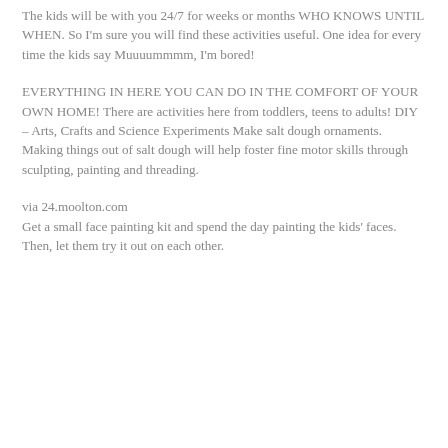The kids will be with you 24/7 for weeks or months WHO KNOWS UNTIL WHEN. So I'm sure you will find these activities useful. One idea for every time the kids say Muuuummmm, I'm bored!
EVERYTHING IN HERE YOU CAN DO IN THE COMFORT OF YOUR OWN HOME! There are activities here from toddlers, teens to adults! DIY – Arts, Crafts and Science Experiments Make salt dough ornaments.
Making things out of salt dough will help foster fine motor skills through sculpting, painting and threading.
via 24.moolton.com
Get a small face painting kit and spend the day painting the kids' faces.
Then, let them try it out on each other.